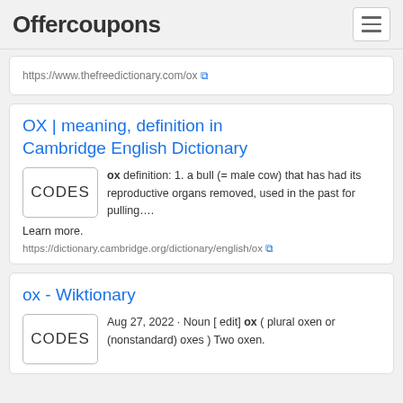Offercoupons
https://www.thefreedictionary.com/ox
OX | meaning, definition in Cambridge English Dictionary
ox definition: 1. a bull (= male cow) that has had its reproductive organs removed, used in the past for pulling.... Learn more.
https://dictionary.cambridge.org/dictionary/english/ox
ox - Wiktionary
Aug 27, 2022 · Noun [ edit] ox ( plural oxen or (nonstandard) oxes ) Two oxen.